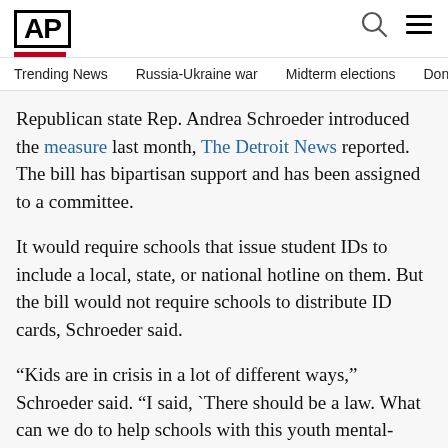AP
Trending News   Russia-Ukraine war   Midterm elections   Dona
Republican state Rep. Andrea Schroeder introduced the measure last month, The Detroit News reported. The bill has bipartisan support and has been assigned to a committee.
It would require schools that issue student IDs to include a local, state, or national hotline on them. But the bill would not require schools to distribute ID cards, Schroeder said.
“Kids are in crisis in a lot of different ways,” Schroeder said. “I said, `There should be a law. What can we do to help schools with this youth mental-health crisis?’”